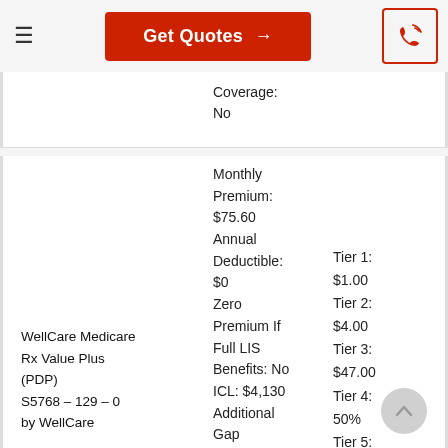≡  Get Quotes →  [phone icon]
Coverage:
No
WellCare Medicare Rx Value Plus (PDP)
S5768 – 129 – 0
by WellCare
Monthly Premium: $75.60
Annual Deductible: $0
Zero Premium If Full LIS Benefits: No
ICL: $4,130
Additional Gap Coverage: No
Tier 1: $1.00
Tier 2: $4.00
Tier 3: $47.00
Tier 4: 50%
Tier 5: 33%